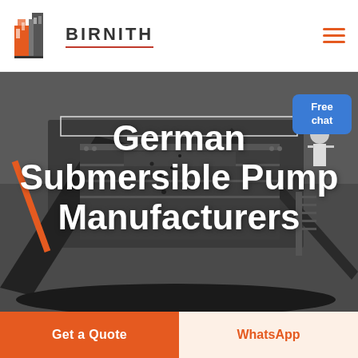[Figure (logo): Birnith company logo with orange building icon and brand name BIRNITH with red underline]
[Figure (photo): Industrial mining/crushing station machinery in dark grayscale background with coal/rock material being processed]
German Submersible Pump Manufacturers
Free chat
Get a Quote
WhatsApp